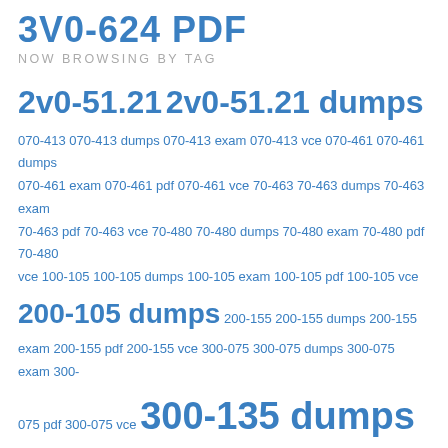3V0-624 PDF
NOW BROWSING BY TAG
2v0-51.21 2v0-51.21 dumps 070-413 070-413 dumps 070-413 exam 070-413 vce 070-461 070-461 dumps 070-461 exam 070-461 pdf 070-461 vce 70-463 70-463 dumps 70-463 exam 70-463 pdf 70-463 vce 70-480 70-480 dumps 70-480 exam 70-480 pdf 70-480 vce 100-105 100-105 dumps 100-105 exam 100-105 pdf 100-105 vce 200-105 dumps 200-155 200-155 dumps 200-155 exam 200-155 pdf 200-155 vce 300-075 300-075 dumps 300-075 exam 300-075 pdf 300-075 vce 300-135 dumps 300-135 dumps pdf 300-135 tshoot 300-160 dumps lead4pass 3V0-21.21 dumps